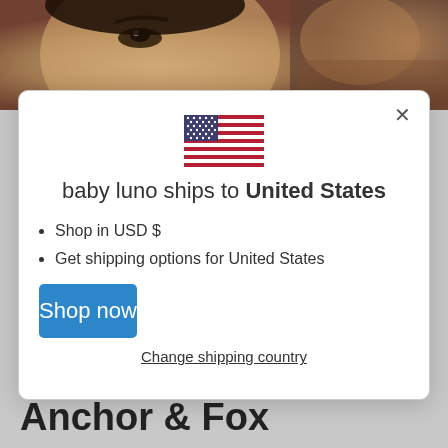[Figure (photo): Background photo showing partial view of a person's face and blurred background, cropped at top]
[Figure (illustration): US Flag illustration shown in a modal dialog]
baby luno ships to United States
Shop in USD $
Get shipping options for United States
Shop now
Change shipping country
The SuperMamma Behind Anchor & Fox